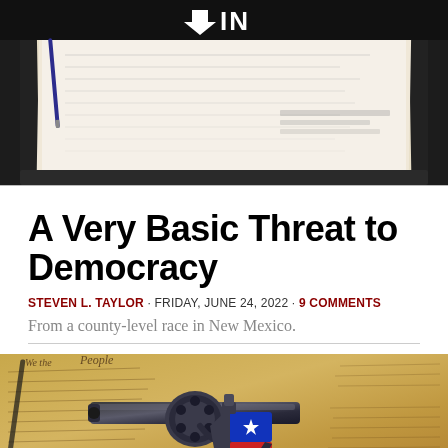[Figure (photo): Paper document tray with a label showing a downward arrow and 'IN', with papers/documents inside it, photographed from above at an angle]
A Very Basic Threat to Democracy
STEVEN L. TAYLOR · FRIDAY, JUNE 24, 2022 · 9 COMMENTS
From a county-level race in New Mexico.
[Figure (photo): A revolver handgun with a grip decorated with an American flag design (stars and stripes), resting on what appears to be a historical document like the US Constitution, with a pen visible in the background]